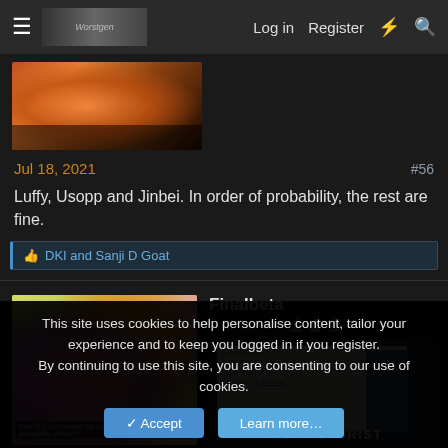Log in  Register
[Figure (photo): Forum header banner image with dark fantasy artwork]
[Figure (photo): Top post avatar/image: orange and dark fantasy illustration]
Jul 18, 2021  #56
Luffy, Usopp and Jinbei. In order of probability, the rest are fine.
DKI and Sanji D Goat
Finalbeta
Science Nerd 🔬🔬🔬 ✳
[Figure (photo): Simpsons Homer and Lisa scene avatar]
[Figure (photo): The Futurist meme image with Sheldon Cooper at whiteboard]
This site uses cookies to help personalise content, tailor your experience and to keep you logged in if you register.
By continuing to use this site, you are consenting to our use of cookies.